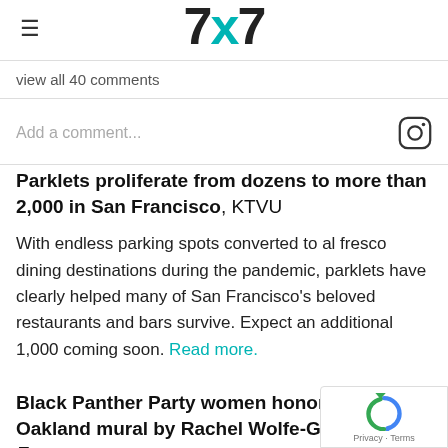7x7
view all 40 comments
Add a comment...
Parklets proliferate from dozens to more than 2,000 in San Francisco, KTVU
With endless parking spots converted to al fresco dining destinations during the pandemic, parklets have clearly helped many of San Francisco's beloved restaurants and bars survive. Expect an additional 1,000 coming soon. Read more.
Black Panther Party women honored in West Oakland mural by Rachel Wolfe-Goldsmith, Ea... Ti...